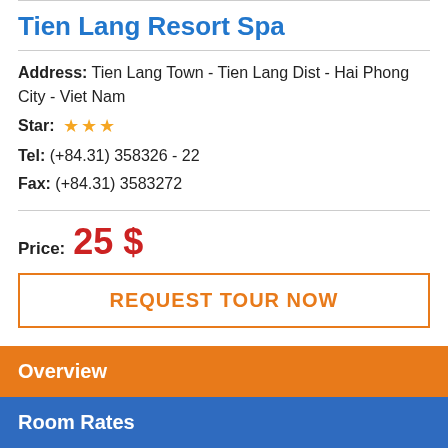Tien Lang Resort Spa
Address: Tien Lang Town - Tien Lang Dist - Hai Phong City - Viet Nam
Star: ★★★
Tel: (+84.31) 358326 - 22
Fax: (+84.31) 3583272
Price: 25 $
REQUEST TOUR NOW
Overview
Room Rates